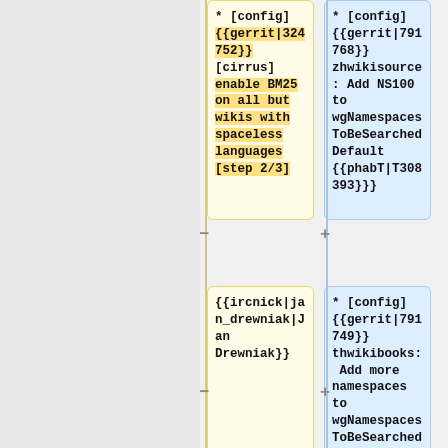* [config] {{gerrit|324752}} [cirrus] enable BM25 on all but wikis with spaceless languages [step 2/3]
* [config] {{gerrit|791768}} zhwikisource: Add NS100 to wgNamespacesToBeSearchedDefault {{phabT|T308393}}
{{ircnick|jan_drewniak|Jan Drewniak}}
* [config] {{gerrit|791749}} thwikibooks: Add more namespaces to wgNamespacesToBeSearchedDefault